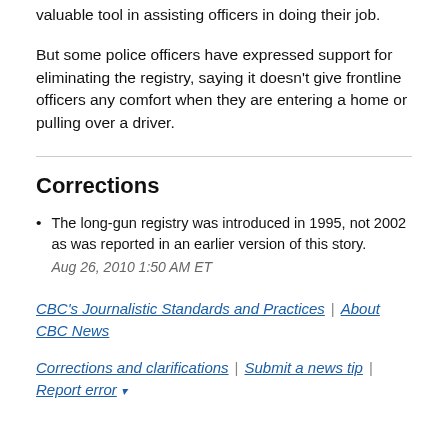valuable tool in assisting officers in doing their job.
But some police officers have expressed support for eliminating the registry, saying it doesn't give frontline officers any comfort when they are entering a home or pulling over a driver.
Corrections
The long-gun registry was introduced in 1995, not 2002 as was reported in an earlier version of this story.
Aug 26, 2010 1:50 AM ET
CBC's Journalistic Standards and Practices | About CBC News
Corrections and clarifications | Submit a news tip | Report error ▾